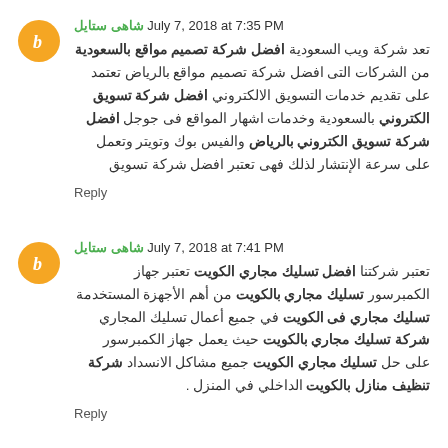شاهى ستايل July 7, 2018 at 7:35 PM
تعد شركة ويب السعودية افضل شركة تصميم مواقع بالسعودية من الشركات التى افضل شركة تصميم مواقع بالرياض تعتمد على تقديم خدمات التسويق الالكتروني افضل شركة تسويق الكتروني بالسعودية وخدمات اشهار المواقع فى جوجل افضل شركة تسويق الكتروني بالرياض والفيس بوك وتويتر وتعمل على سرعة الإنتشار لذلك فهى تعتبر افضل شركة تسويق
Reply
شاهى ستايل July 7, 2018 at 7:41 PM
تعتبر شركتنا افضل تسليك مجاري الكويت تعتبر جهاز الكمبرسور تسليك مجاري بالكويت من أهم الأجهزة المستخدمة تسليك مجاري فى الكويت في جميع أعمال تسليك المجاري شركة تسليك مجاري بالكويت حيث يعمل جهاز الكمبرسور على حل تسليك مجاري الكويت جميع مشاكل الانسداد شركة تنظيف منازل بالكويت الداخلي في المنزل .
Reply